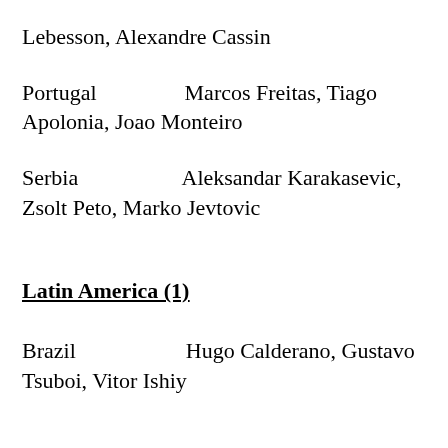Lebesson, Alexandre Cassin
Portugal    Marcos Freitas, Tiago Apolonia, Joao Monteiro
Serbia    Aleksandar Karakasevic, Zsolt Peto, Marko Jevtovic
Latin America (1)
Brazil    Hugo Calderano, Gustavo Tsuboi, Vitor Ishiy
North America (1)